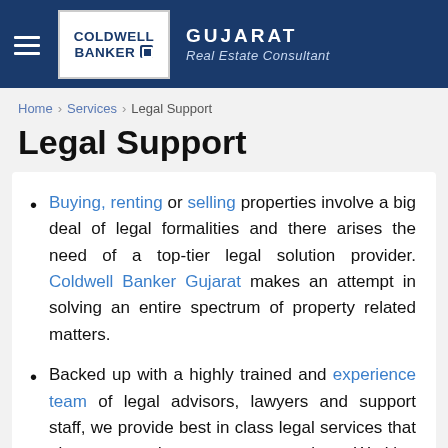Coldwell Banker Gujarat - Real Estate Consultant
Home > Services > Legal Support
Legal Support
Buying, renting or selling properties involve a big deal of legal formalities and there arises the need of a top-tier legal solution provider. Coldwell Banker Gujarat makes an attempt in solving an entire spectrum of property related matters.
Backed up with a highly trained and experience team of legal advisors, lawyers and support staff, we provide best in class legal services that gives us an edge over our competitors. Working in real estate sector may lead to often disputes due to implication of large financial transactions, and